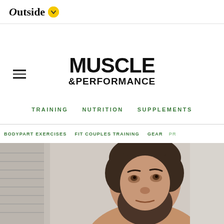Outside
[Figure (logo): Muscle & Performance magazine logo with hamburger menu icon]
TRAINING  NUTRITION  SUPPLEMENTS
BODYPART EXERCISES  FIT COUPLES TRAINING  GEAR  P...
[Figure (photo): Man with beard looking upward, shirtless, against a light textured background]